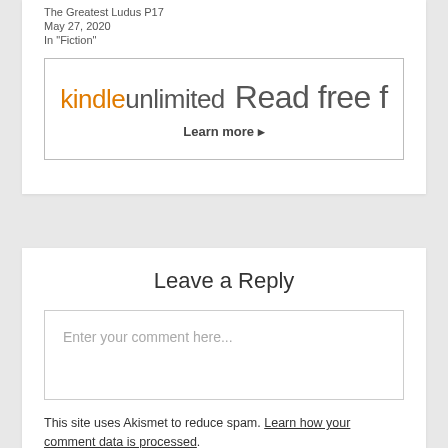The Greatest Ludus P17
May 27, 2020
In "Fiction"
[Figure (other): Kindle Unlimited advertisement banner: 'kindleunlimited Read free f' with 'Learn more ▸' link]
Leave a Reply
Enter your comment here...
This site uses Akismet to reduce spam. Learn how your comment data is processed.